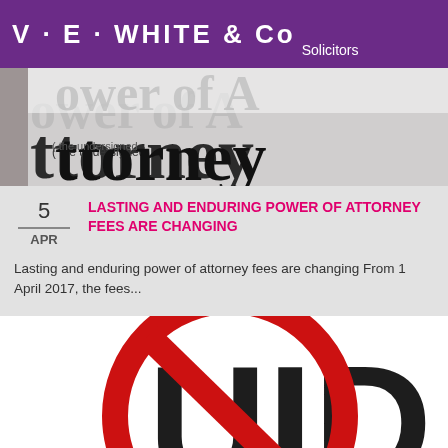V · E · WHITE & Co Solicitors
[Figure (photo): Partial photograph of a Power of Attorney document with large decorative text 'Power of Attorney' and small text '( the undersigned']
5 APR LASTING AND ENDURING POWER OF ATTORNEY FEES ARE CHANGING
Lasting and enduring power of attorney fees are changing From 1 April 2017, the fees...
[Figure (illustration): Large red circle with diagonal line (no/prohibited symbol) overlaid on large bold black letters 'UID', partially cropped]
17 'I THOUGHT I'D BOUGHT MY FIRST
Translate »